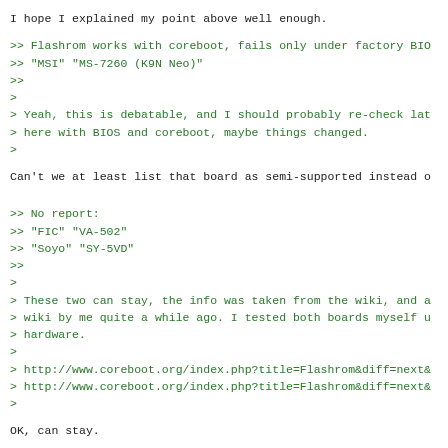I hope I explained my point above well enough.
>> Flashrom works with coreboot, fails only under factory BIO
>> "MSI" "MS-7260 (K9N Neo)"
>>
>
> Yeah, this is debatable, and I should probably re-check lat
> here with BIOS and coreboot, maybe things changed.
>
Can't we at least list that board as semi-supported instead o
>> No report:
>> "FIC" "VA-502"
>> "Soyo" "SY-5VD"
>>
>
> These two can stay, the info was taken from the wiki, and a
> wiki by me quite a while ago. I tested both boards myself u
> hardware.
>
> http://www.coreboot.org/index.php?title=Flashrom&diff=next&
> http://www.coreboot.org/index.php?title=Flashrom&diff=next&
>
OK, can stay.
>> "PCCHIPS" "M537DMA33"
>>